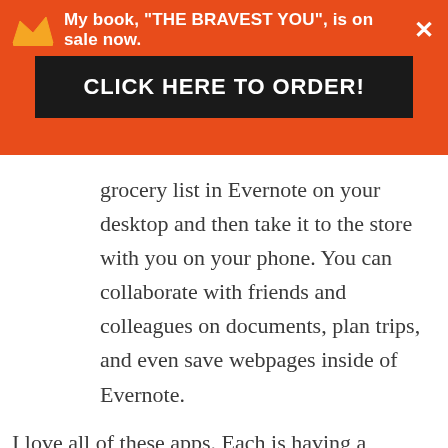My book, "THE BRAVEST YOU", is on sale now.
CLICK HERE TO ORDER!
grocery list in Evernote on your desktop and then take it to the store with you on your phone. You can collaborate with friends and colleagues on documents, plan trips, and even save webpages inside of Evernote.
I love all of these apps. Each is having a tremendous impact on my life.
I am closing in on completing goals I have